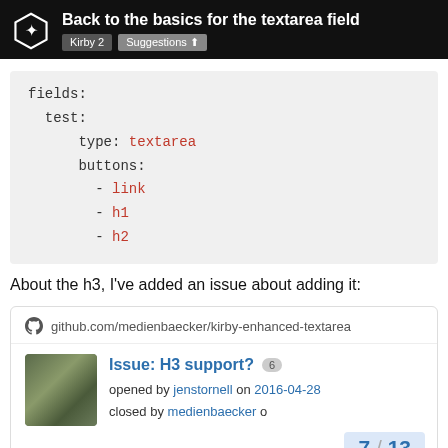Back to the basics for the textarea field | Kirby 2 | Suggestions
fields:
  test:
    type: textarea
    buttons:
      - link
      - h1
      - h2
About the h3, I've added an issue about adding it:
[Figure (screenshot): GitHub issue card showing 'Issue: H3 support?' with 6 comments, opened by jenstornell on 2016-04-28, closed by medienbaecker. Shows github.com/medienbaecker/kirby-enhanced-textarea link and pagination 7/13.]